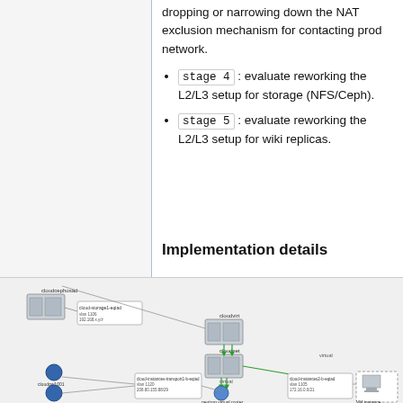stage 4: evaluate reworking the L2/L3 setup for storage (NFS/Ceph).
stage 5: evaluate reworking the L2/L3 setup for wiki replicas.
Implementation details
[Figure (network-graph): Network diagram showing cloudcephosad, cloud-storage1-eqiad vlan 1106 192.168.x.y/z, cloudvirt, cloudnet, neutron virtual router, cloudgw1001, cloudgw1902, cloud-instances-transport1-b-eqiad vlan 1120 208.80.155.88/29, cloud-instances2-b-eqiad vlan 1105 172.16.0.0/21, VM instance nodes with connecting lines including green arrows for virtual connections.]